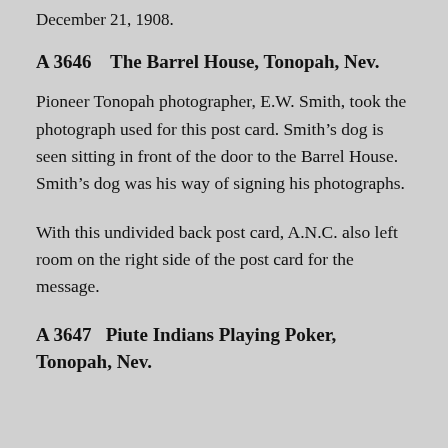December 21, 1908.
A 3646    The Barrel House, Tonopah, Nev.
Pioneer Tonopah photographer, E.W. Smith, took the photograph used for this post card. Smith’s dog is seen sitting in front of the door to the Barrel House.  Smith’s dog was his way of signing his photographs.
With this undivided back post card, A.N.C. also left room on the right side of the post card for the message.
A 3647   Piute Indians Playing Poker, Tonopah, Nev.